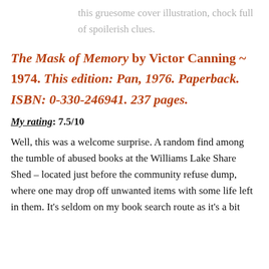this gruesome cover illustration, chock full of spoilerish clues.
The Mask of Memory by Victor Canning ~ 1974. This edition: Pan, 1976. Paperback. ISBN: 0-330-246941. 237 pages.
My rating: 7.5/10
Well, this was a welcome surprise. A random find among the tumble of abused books at the Williams Lake Share Shed – located just before the community refuse dump, where one may drop off unwanted items with some life left in them. It's seldom on my book search route as it's a bit